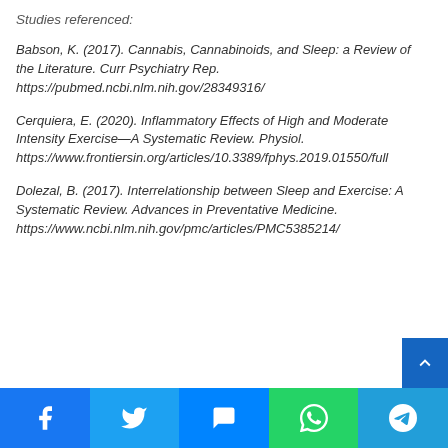Studies referenced:
Babson, K. (2017). Cannabis, Cannabinoids, and Sleep: a Review of the Literature. Curr Psychiatry Rep. https://pubmed.ncbi.nlm.nih.gov/28349316/
Cerquiera, E. (2020). Inflammatory Effects of High and Moderate Intensity Exercise—A Systematic Review. Physiol. https://www.frontiersin.org/articles/10.3389/fphys.2019.01550/full
Dolezal, B. (2017). Interrelationship between Sleep and Exercise: A Systematic Review. Advances in Preventative Medicine. https://www.ncbi.nlm.nih.gov/pmc/articles/PMC5385214/